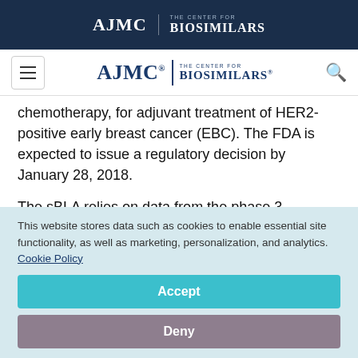AJMC | THE CENTER FOR BIOSIMILARS
AJMC THE CENTER FOR BIOSIMILARS [navigation bar]
chemotherapy, for adjuvant treatment of HER2-positive early breast cancer (EBC). The FDA is expected to issue a regulatory decision by January 28, 2018.
The sBLA relies on data from the phase 3
This website stores data such as cookies to enable essential site functionality, as well as marketing, personalization, and analytics. Cookie Policy
Accept
Deny